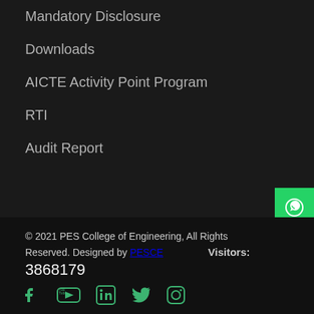Mandatory Disclosure
Downloads
AICTE Activity Point Program
RTI
Audit Report
[Figure (other): WhatsApp icon button (green)]
[Figure (other): Web/globe icon button (pink/red)]
© 2021 PES College of Engineering, All Rights Reserved. Designed by PESCE  Visitors: 3868179
[Figure (other): Social media icons: Facebook, YouTube, LinkedIn, Twitter, Instagram (green)]